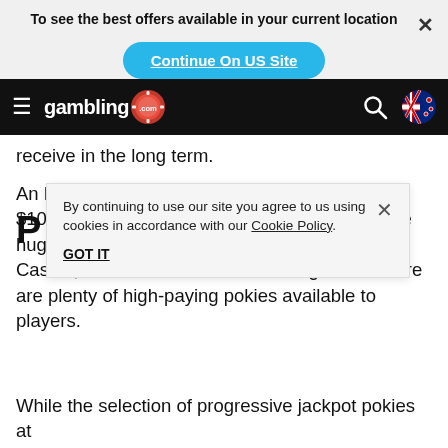To see the best offers available in your current location
Continue On US Site
gambling .com
receive in the long term.
An RTP of 98% means that a $98 return from $100 in wagers is what you can expect. With the huge range of games available at Regent Play Casino, the RTP values will run the gambit. There are plenty of high-paying pokies available to players.
By continuing to use our site you agree to us using cookies in accordance with our Cookie Policy.
GOT IT
P
While the selection of progressive jackpot pokies at